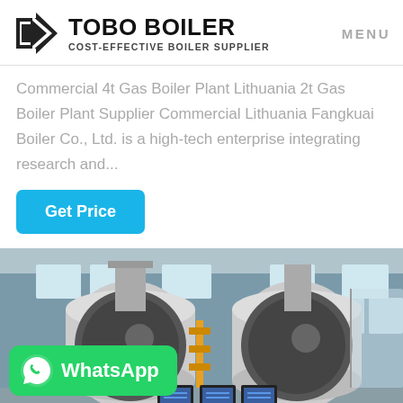TOBO BOILER — COST-EFFECTIVE BOILER SUPPLIER — MENU
Commercial 4t Gas Boiler Plant Lithuania 2t Gas Boiler Plant Supplier Commercial Lithuania Fangkuai Boiler Co., Ltd. is a high-tech enterprise integrating research and...
Get Price
[Figure (photo): Industrial boiler plant interior showing two large cylindrical boilers with piping and control monitors, with a WhatsApp promotional badge overlay]